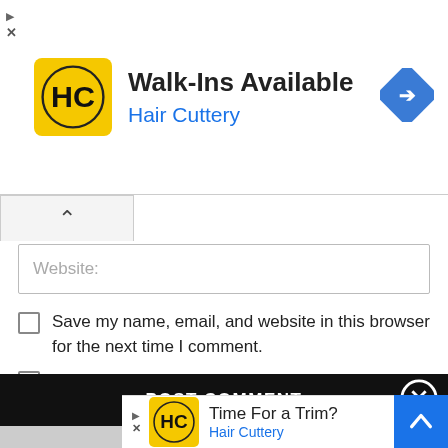[Figure (screenshot): Hair Cuttery advertisement banner showing logo, 'Walk-Ins Available' text, and navigation arrow icon]
Website:
Save my name, email, and website in this browser for the next time I comment.
Notify me of follow-up comments by email.
Notify me of new posts by email.
POST COMMENT
[Figure (screenshot): Hair Cuttery advertisement showing logo, 'Time For a Trim?' text, and navigation arrow icon at the bottom of the page]